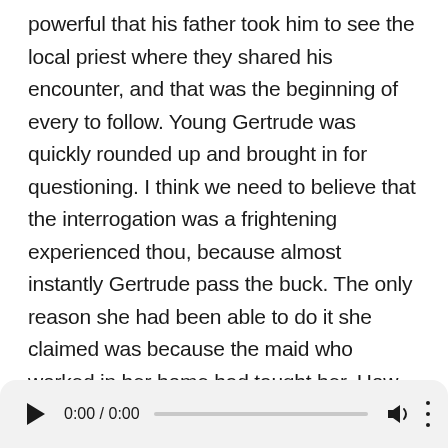...ridiculous stor, but the young boy's conviction was so powerful that his father took him to see the local priest where they shared his encounter, and that was the beginning of every to follow. Young Gertrude was quickly rounded up and brought in for questioning. I think we need to believe that the interrogation was a frightening experienced thou, because almost instantly Gertrude pass the buck. The only reason she had been able to do it she claimed was because the maid who worked in her home had taught her. How. that made a woman named Margaret John's daughter denied the accusation, but the story was just too vivid to North Gertrude claim that six years earlier, in one thousand, six hundred and sixty four Mart had taken her to an island off the eastern Coast, referred to by locals as bloke
[Figure (other): Audio player UI showing play button, time display 0:00 / 0:00, progress bar, volume icon, and more options (three dots) icon.]